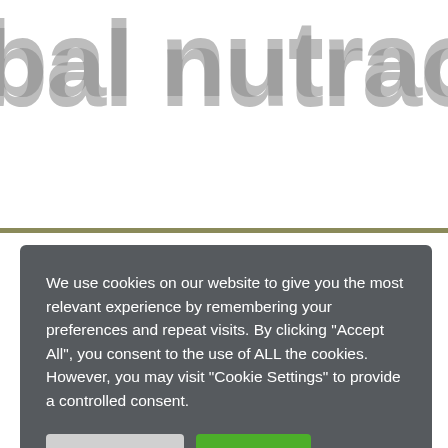bal nutraceutico
We use cookies on our website to give you the most relevant experience by remembering your preferences and repeat visits. By clicking "Accept All", you consent to the use of ALL the cookies. However, you may visit "Cookie Settings" to provide a controlled consent.
Cookie Settings
Accept All
together to share knowledge, overcome challenges and create business opportunities. Vitafoods Europe will be hosted in Geneva, Switzerland is the place to meet and source new products and ingredients, learn